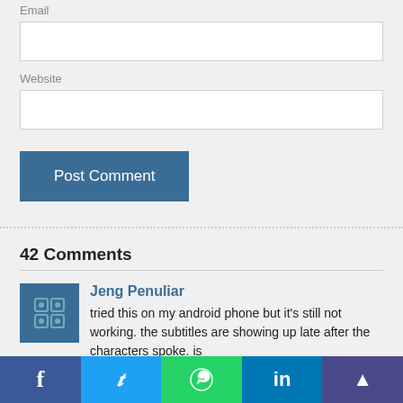Email
Website
Post Comment
42 Comments
Jeng Penuliar
tried this on my android phone but it's still not working. the subtitles are showing up late after the characters spoke. is
[Figure (infographic): Social share bar at bottom with Facebook, Twitter, WhatsApp, LinkedIn, and scroll-to-top icons]